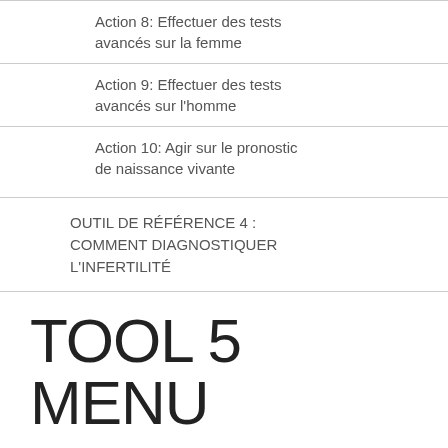Action 8: Effectuer des tests avancés sur la femme
Action 9: Effectuer des tests avancés sur l'homme
Action 10: Agir sur le pronostic de naissance vivante
OUTIL DE RÉFÉRENCE 4 : COMMENT DIAGNOSTIQUER L'INFERTILITÉ
TOOL 5 MENU